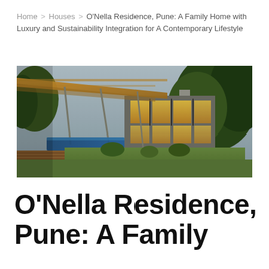Home > Houses > O'Nella Residence, Pune: A Family Home with Luxury and Sustainability Integration for A Contemporary Lifestyle
[Figure (photo): Exterior photograph of O'Nella Residence in Pune at dusk, showing a modern family home with a large cantilevered wooden pergola/canopy in the foreground, a swimming pool with blue water on the left, warm golden interior lighting visible through floor-to-ceiling glass walls, lush green trees surrounding the property, and a lawn in the mid-ground.]
O'Nella Residence, Pune: A Family